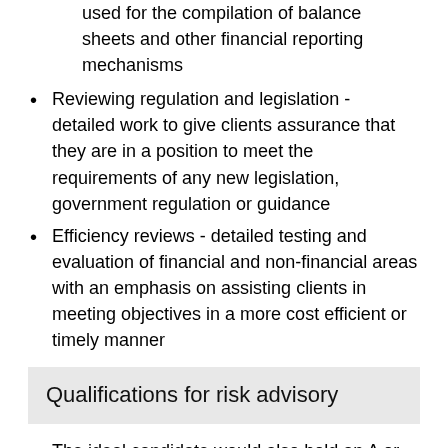detailed testing and evaluation of processes used for the compilation of balance sheets and other financial reporting mechanisms
Reviewing regulation and legislation - detailed work to give clients assurance that they are in a position to meet the requirements of any new legislation, government regulation or guidance
Efficiency reviews - detailed testing and evaluation of financial and non-financial areas with an emphasis on assisting clients in meeting objectives in a more cost efficient or timely manner
Qualifications for risk advisory
The ideal candidate would also hold an A or AS level in one of the following subjects, however consideration will be given to other skills